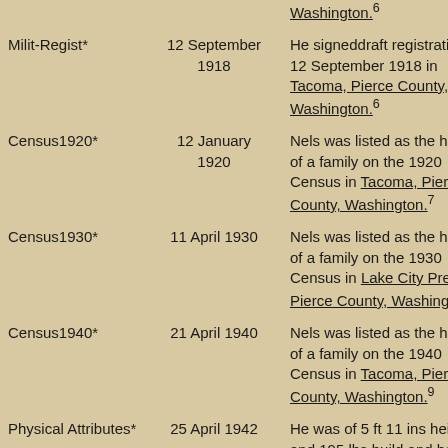| Event | Date | Description |
| --- | --- | --- |
|  |  | Washington.⁶ |
| Milit-Regist* | 12 September 1918 | He signeddraft registration on 12 September 1918 in Tacoma, Pierce County, Washington.⁶ |
| Census1920* | 12 January 1920 | Nels was listed as the head of a family on the 1920 Census in Tacoma, Pierce County, Washington.⁷ |
| Census1930* | 11 April 1930 | Nels was listed as the head of a family on the 1930 Census in Lake City Precinct, Pierce County, Washington.⁸ |
| Census1940* | 21 April 1940 | Nels was listed as the head of a family on the 1940 Census in Tacoma, Pierce County, Washington.⁹ |
| Physical Attributes* | 25 April 1942 | He was of 5 ft 11 ins heiight and 195 lbs build and had blue eyes |